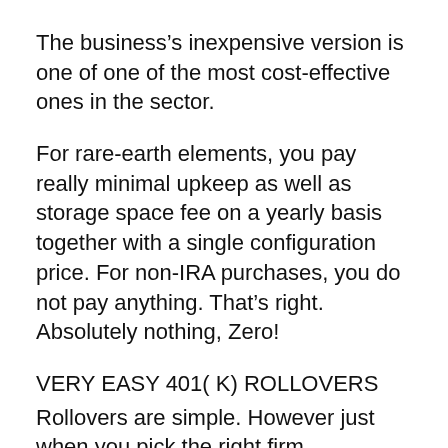The business’s inexpensive version is one of one of the most cost-effective ones in the sector.
For rare-earth elements, you pay really minimal upkeep as well as storage space fee on a yearly basis together with a single configuration price. For non-IRA purchases, you do not pay anything. That’s right. Absolutely nothing, Zero!
VERY EASY 401( K) ROLLOVERS
Rollovers are simple. However just when you pick the right firm.
At Goldco, you can have a quick and hassle-free rollover. All you need to do is open a